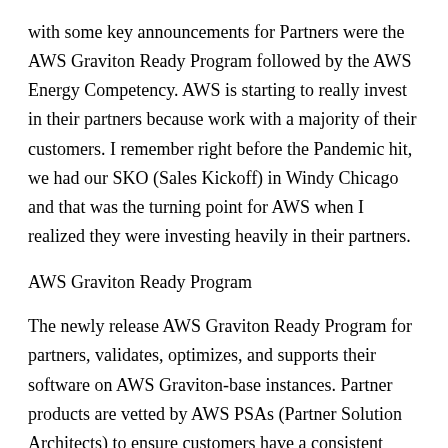with some key announcements for Partners were the AWS Graviton Ready Program followed by the AWS Energy Competency. AWS is starting to really invest in their partners because work with a majority of their customers. I remember right before the Pandemic hit, we had our SKO (Sales Kickoff) in Windy Chicago and that was the turning point for AWS when I realized they were investing heavily in their partners.
AWS Graviton Ready Program
The newly release AWS Graviton Ready Program for partners, validates, optimizes, and supports their software on AWS Graviton-base instances. Partner products are vetted by AWS PSAs (Partner Solution Architects) to ensure customers have a consistent